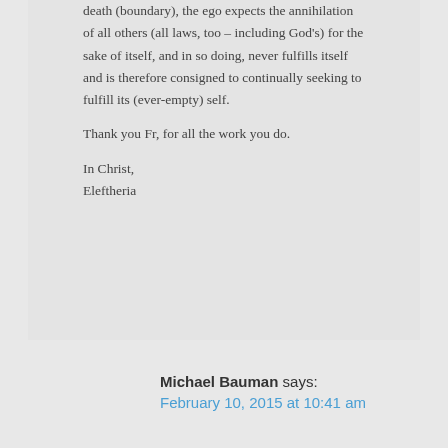death (boundary), the ego expects the annihilation of all others (all laws, too – including God's) for the sake of itself, and in so doing, never fulfills itself and is therefore consigned to continually seeking to fulfill its (ever-empty) self.
Thank you Fr, for all the work you do.
In Christ,
Eleftheria
Michael Bauman says:
February 10, 2015 at 10:41 am